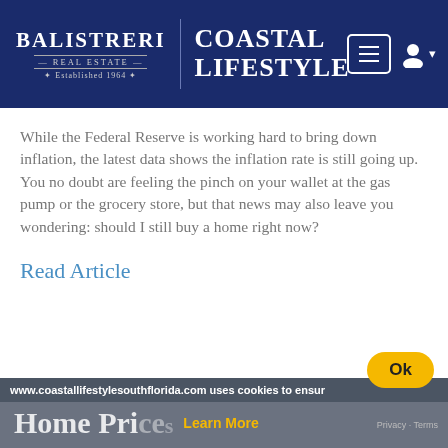BALISTRERI REAL ESTATE — ESTABLISHED 1964 | COASTAL LIFESTYLE
While the Federal Reserve is working hard to bring down inflation, the latest data shows the inflation rate is still going up. You no doubt are feeling the pinch on your wallet at the gas pump or the grocery store, but that news may also leave you wondering: should I still buy a home right now?
Read Article
www.coastallifestylesouthflorida.com uses cookies to ensur
Home Prices
Learn More